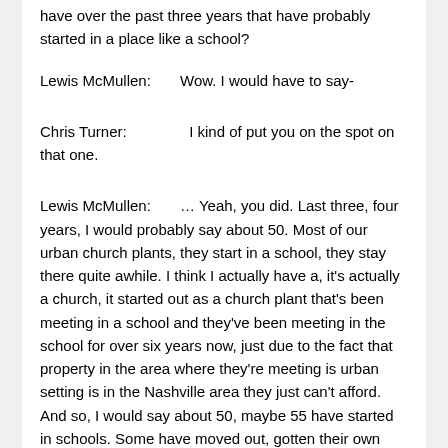have over the past three years that have probably started in a place like a school?
Lewis McMullen:        Wow. I would have to say-
Chris Turner:                I kind of put you on the spot on that one.
Lewis McMullen:        … Yeah, you did. Last three, four years, I would probably say about 50. Most of our urban church plants, they start in a school, they stay there quite awhile. I think I actually have a, it's actually a church, it started out as a church plant that's been meeting in a school and they've been meeting in the school for over six years now, just due to the fact that property in the area where they're meeting is urban setting is in the Nashville area they just can't afford. And so, I would say about 50, maybe 55 have started in schools. Some have moved out, gotten their own places. Some have actually gone in and kind of